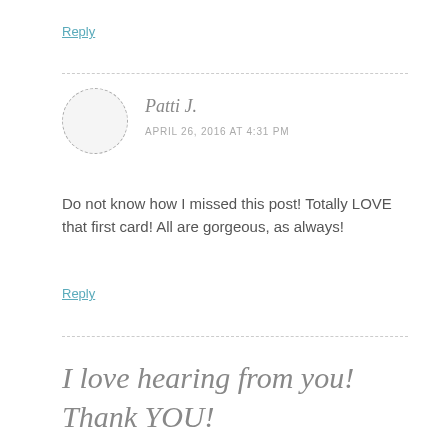Reply
Patti J.
APRIL 26, 2016 AT 4:31 PM
Do not know how I missed this post! Totally LOVE that first card! All are gorgeous, as always!
Reply
I love hearing from you! Thank YOU!